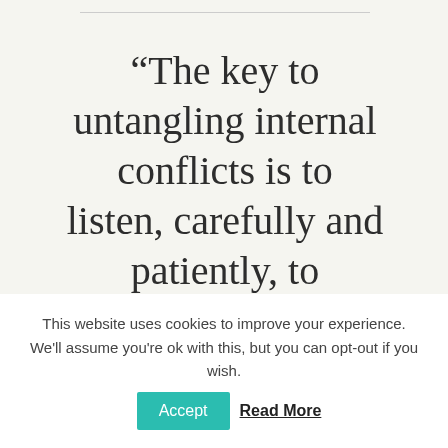“The key to untangling internal conflicts is to listen, carefully and patiently, to
This website uses cookies to improve your experience. We'll assume you're ok with this, but you can opt-out if you wish. Accept Read More